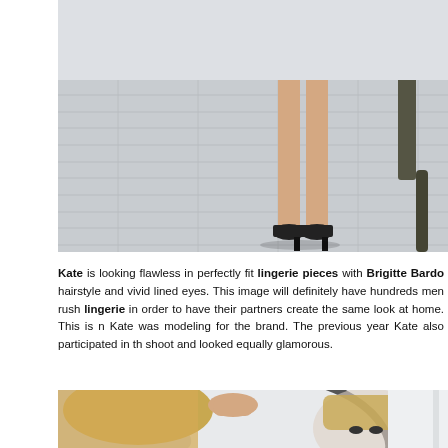[Figure (photo): Top portion of a fashion photo showing a woman's legs in black high heels standing on a white wooden floor, with furniture visible in the background.]
Kate is looking flawless in perfectly fit lingerie pieces with Brigitte Bardo hairstyle and vivid lined eyes. This image will definitely have hundreds men rushing to buy lingerie in order to have their partners create the same look at home. This is not the first time Kate was modeling for the brand. The previous year Kate also participated in the photo shoot and looked equally glamorous.
[Figure (photo): Bottom fashion photo showing a blonde woman looking at her reflection in a round mirror, with vivid lined eyes and a Brigitte Bardot hairstyle.]